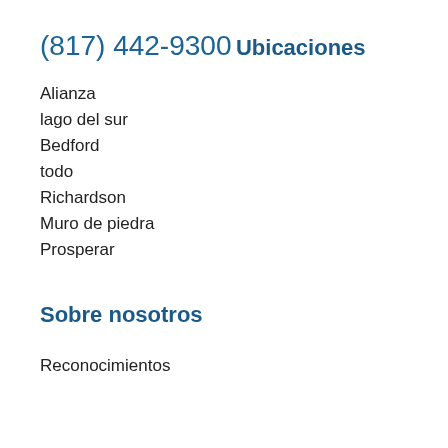(817) 442-9300
Ubicaciones
Alianza
lago del sur
Bedford
todo
Richardson
Muro de piedra
Prosperar
Sobre nosotros
Reconocimientos